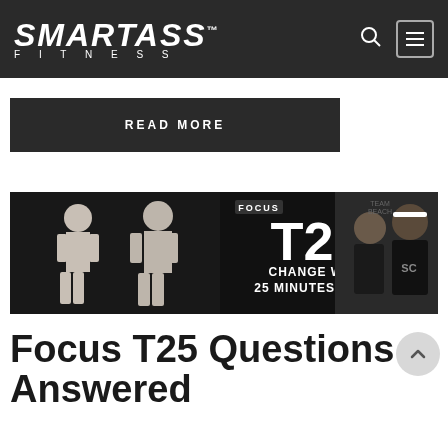SMARTASS FITNESS
READ MORE
[Figure (photo): Focus T25 advertisement banner showing two male fitness before/after transformation photos on left, large 'FOCUS T25' logo in center with text 'CHANGE WITH 25 MINUTES A DAY', and two men posing for a photo on the right side.]
Focus T25 Questions Answered